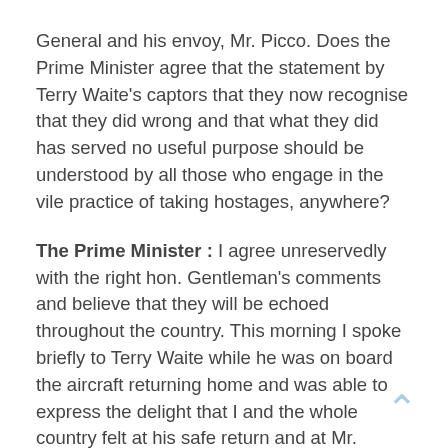General and his envoy, Mr. Picco. Does the Prime Minister agree that the statement by Terry Waite's captors that they now recognise that they did wrong and that what they did has served no useful purpose should be understood by all those who engage in the vile practice of taking hostages, anywhere?
The Prime Minister : I agree unreservedly with the right hon. Gentleman's comments and believe that they will be echoed throughout the country. This morning I spoke briefly to Terry Waite while he was on board the aircraft returning home and was able to express the delight that I and the whole country felt at his safe return and at Mr. Sutherland's release. We owe a great deal to the United Nations Secretary-General and to Mr. Picco who have worked tirelessly with others to secure the release